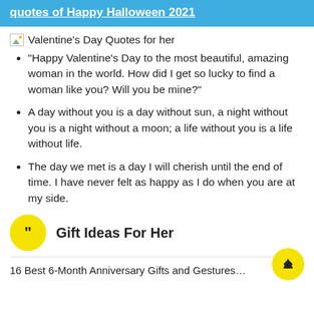quotes of Happy Halloween 2021
[Figure (photo): Broken image placeholder for Valentine's Day Quotes for her]
“Happy Valentine’s Day to the most beautiful, amazing woman in the world. How did I get so lucky to find a woman like you? Will you be mine?”
A day without you is a day without sun, a night without you is a night without a moon; a life without you is a life without life.
The day we met is a day I will cherish until the end of time. I have never felt as happy as I do when you are at my side.
Gift Ideas For Her
16 Best 6-Month Anniversary Gifts and Gestures…